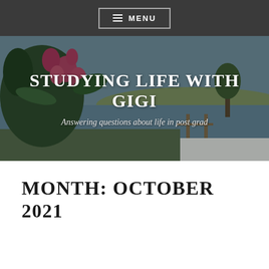MENU
STUDYING LIFE WITH GIGI
Answering questions about life in post grad
MONTH: OCTOBER 2021